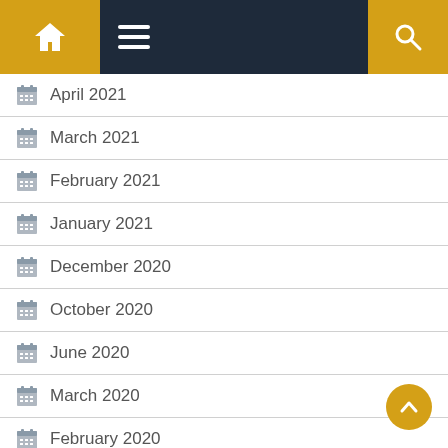Navigation bar with home, menu, and search icons
April 2021
March 2021
February 2021
January 2021
December 2020
October 2020
June 2020
March 2020
February 2020
October 2019